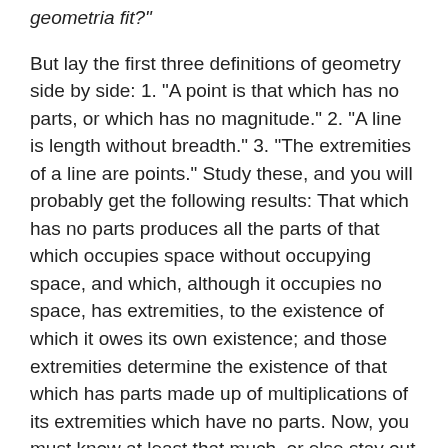geometria fit?"
But lay the first three definitions of geometry side by side: 1. "A point is that which has no parts, or which has no magnitude." 2. "A line is length without breadth." 3. "The extremities of a line are points." Study these, and you will probably get the following results: That which has no parts produces all the parts of that which occupies space without occupying space, and which, although it occupies no space, has extremities, to the existence of which it owes its own existence; and those extremities determine the existence of that which has parts made up of multiplications of its extremities which have no parts. Now, you must know at least that much, or else stay out of Plato's house.
This useful science, without which men could not measure their little plantations, or construct their little roads on